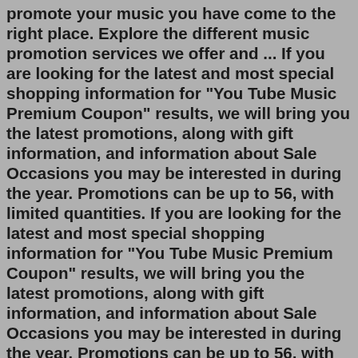promote your music you have come to the right place. Explore the different music promotion services we offer and ... If you are looking for the latest and most special shopping information for "You Tube Music Premium Coupon" results, we will bring you the latest promotions, along with gift information, and information about Sale Occasions you may be interested in during the year. Promotions can be up to 56, with limited quantities. If you are looking for the latest and most special shopping information for "You Tube Music Premium Coupon" results, we will bring you the latest promotions, along with gift information, and information about Sale Occasions you may be interested in during the year. Promotions can be up to 56, with limited quantities. Music Promotion That Works. AMW Group has worked with promoting music for over 24 years. We work with different clients including major and independent labels, artists and producers. If you're looking for modern and effective ways to promote your music you have come to the right place. Explore the different music